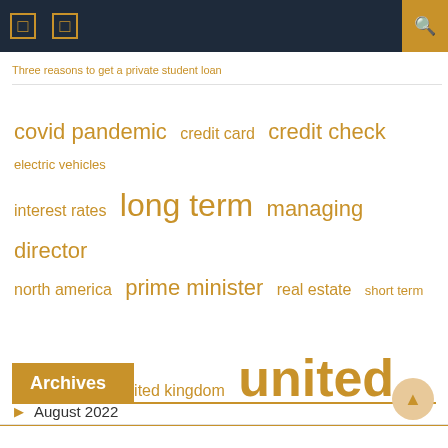Navigation bar with icons and search
Three reasons to get a private student loan
[Figure (infographic): Tag cloud with finance-related terms in varying sizes: covid pandemic, credit card, credit check, electric vehicles, interest rates, long term, managing director, north america, prime minister, real estate, short term, supply chain, united kingdom, united states, universal credit]
Archives
August 2022